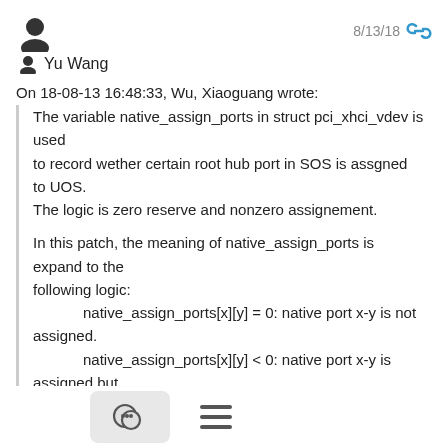Yu Wang — 8/13/18
On 18-08-13 16:48:33, Wu, Xiaoguang wrote:
The variable native_assign_ports in struct pci_xhci_vdev is used
to record wether certain root hub port in SOS is assgned to UOS.
The logic is zero reserve and nonzero assignement.

In this patch, the meaning of native_assign_ports is expand to the
following logic:
    native_assign_ports[x][y] = 0: native port x-y is not assigned.
    native_assign_ports[x][y] < 0: native port x-y is assigned but
            currently no virtual device attached.